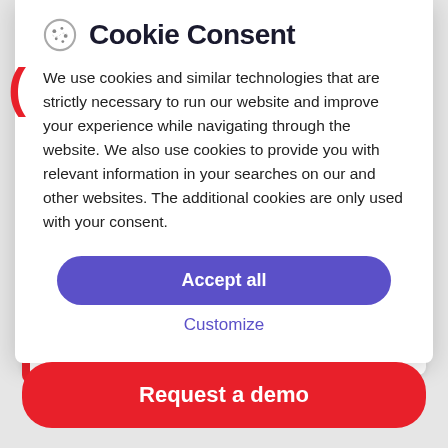Cookie Consent
We use cookies and similar technologies that are strictly necessary to run our website and improve your experience while navigating through the website. We also use cookies to provide you with relevant information in your searches on our and other websites. The additional cookies are only used with your consent.
Accept all
Customize
SITECORE ORDERCLOUD COMMERCE
Request a demo